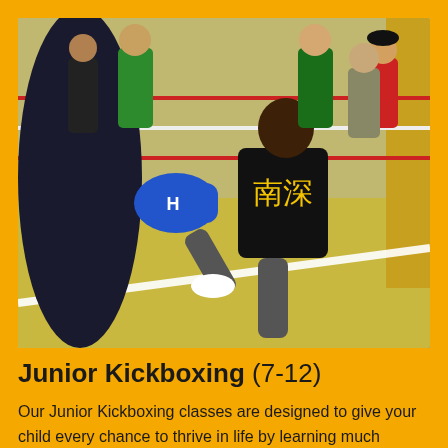[Figure (photo): Children practicing kickboxing in a gym with a boxing ring. A young child in a black and yellow uniform is performing a kick while another child holds a blue pad. Several adults and children are visible in the background around a boxing ring with colored ropes.]
Junior Kickboxing (7-12)
Our Junior Kickboxing classes are designed to give your child every chance to thrive in life by learning much needed life skills like confidence and respect as well as gaining physical fitness and a positive attitude towards